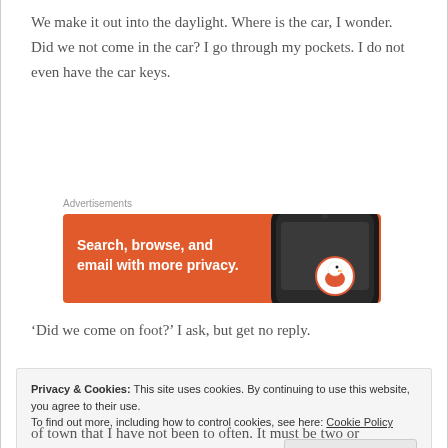We make it out into the daylight. Where is the car, I wonder. Did we not come in the car? I go through my pockets. I do not even have the car keys.
Advertisements
[Figure (illustration): Orange advertisement banner for DuckDuckGo showing text 'Search, browse, and email with more privacy.' with a smartphone and DuckDuckGo logo on dark background]
‘Did we come on foot?’ I ask, but get no reply.
Privacy & Cookies: This site uses cookies. By continuing to use this website, you agree to their use.
To find out more, including how to control cookies, see here: Cookie Policy
of town that I have not been to often. It must be two or